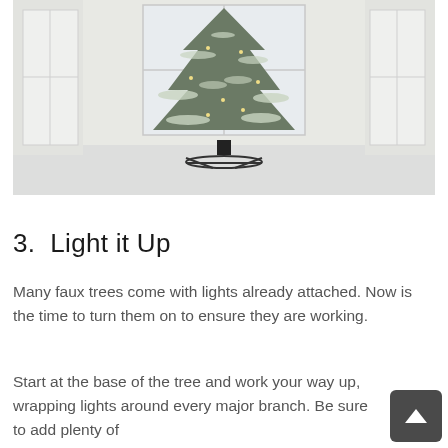[Figure (photo): A flocked artificial Christmas tree with lights and a black metal stand, positioned in front of large white-framed windows in a bright white room.]
3.  Light it Up
Many faux trees come with lights already attached. Now is the time to turn them on to ensure they are working.
Start at the base of the tree and work your way up, wrapping lights around every major branch. Be sure to add plenty of